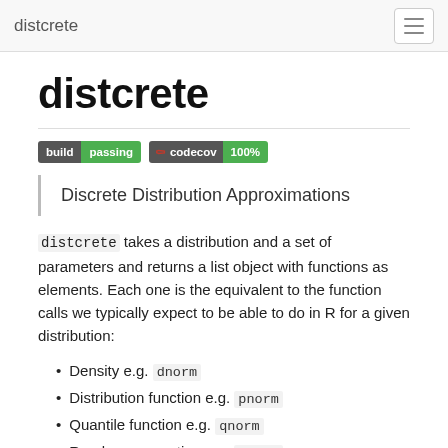distcrete
distcrete
[Figure (infographic): Two badges: 'build passing' (green) and a codecov '100%' (green) badge with Codecov icon]
Discrete Distribution Approximations
distcrete takes a distribution and a set of parameters and returns a list object with functions as elements. Each one is the equivalent to the function calls we typically expect to be able to do in R for a given distribution:
Density e.g. dnorm
Distribution function e.g. pnorm
Quantile function e.g. qnorm
Random generation e.g. rnorm